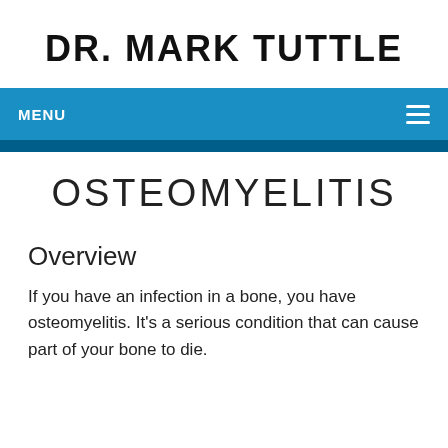DR. MARK TUTTLE
MENU
OSTEOMYELITIS
Overview
If you have an infection in a bone, you have osteomyelitis. It's a serious condition that can cause part of your bone to die.